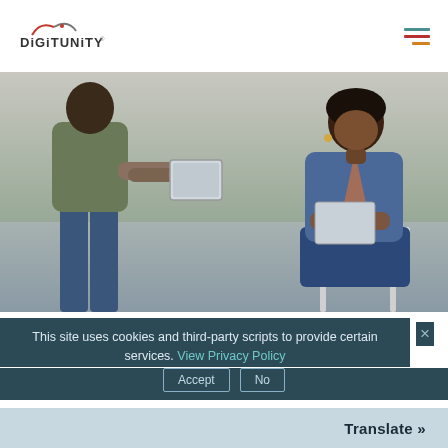[Figure (logo): DigiTunity logo with arc graphic above text]
[Figure (photo): Two women, one standing handing a tablet to one seated wearing a denim jacket and glasses, outdoors]
This site uses cookies and third-party scripts to provide certain services. View Privacy Policy
Accept
No
Translate »